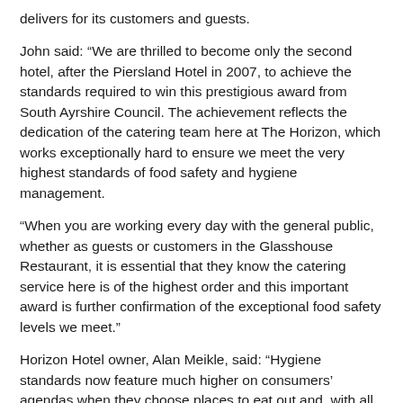delivers for its customers and guests.
John said: “We are thrilled to become only the second hotel, after the Piersland Hotel in 2007, to achieve the standards required to win this prestigious award from South Ayrshire Council. The achievement reflects the dedication of the catering team here at The Horizon, which works exceptionally hard to ensure we meet the very highest standards of food safety and hygiene management.
“When you are working every day with the general public, whether as guests or customers in the Glasshouse Restaurant, it is essential that they know the catering service here is of the highest order and this important award is further confirmation of the exceptional food safety levels we meet.”
Horizon Hotel owner, Alan Meikle, said: “Hygiene standards now feature much higher on consumers’ agendas when they choose places to eat out and, with all the recent publicity on food safety, they are beginning to demand higher quality.”
Says a spokesperson: “Eligible establishments are assessed for the Eat Safe Award as part of scheduled food hygiene inspections carried out by Environmental Health Officers. The top mark is four out of four…